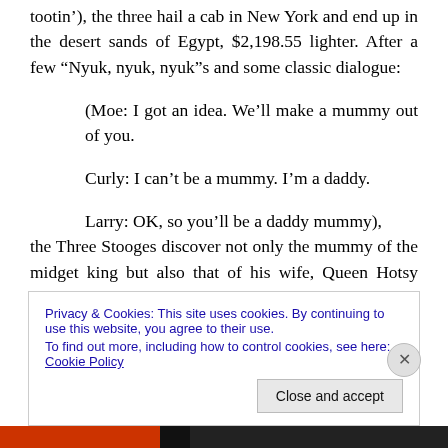tootin'), the three hail a cab in New York and end up in the desert sands of Egypt, $2,198.55 lighter. After a few “Nyuk, nyuk, nyuk”s and some classic dialogue:
(Moe: I got an idea. We’ll make a mummy out of you.
Curly: I can’t be a mummy. I’m a daddy.
Larry: OK, so you’ll be a daddy mummy),
the Three Stooges discover not only the mummy of the midget king but also that of his wife, Queen Hotsy Totsy.
Privacy & Cookies: This site uses cookies. By continuing to use this website, you agree to their use.
To find out more, including how to control cookies, see here: Cookie Policy
Close and accept